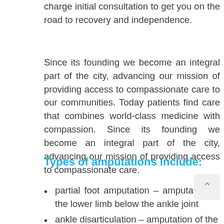charge initial consultation to get you on the road to recovery and independence.
Since its founding we become an integral part of the city, advancing our mission of providing access to compassionate care to our communities. Today patients find care that combines world-class medicine with compassion. Since its founding we become an integral part of the city, advancing our mission of providing access to compassionate care.
Types of amputations include:
partial foot amputation – amputation of the lower limb below the ankle joint
ankle disarticulation – amputation of the